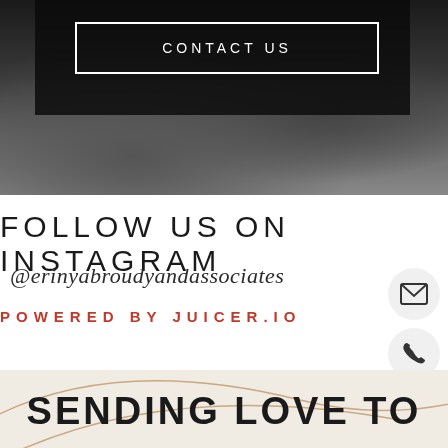[Figure (photo): Dark black and white photo background with people, partially covered by a dark overlay box containing a 'CONTACT US' button with white border]
CONTACT US
FOLLOW US ON INSTAGRAM
@erinyabroudyandassociates
POWERED BY JUICER.IO
[Figure (illustration): Beige background with decorative curve/arc line and partial text 'SENDING LOVE TO' at bottom]